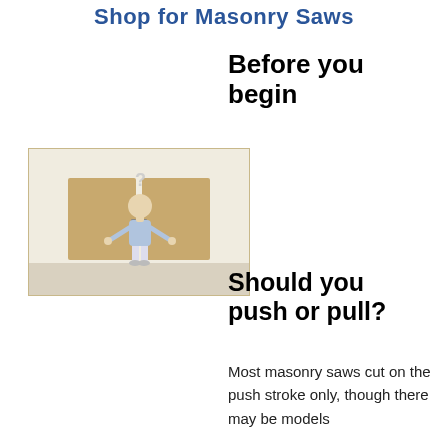Shop for Masonry Saws
Before you begin
[Figure (illustration): A cartoon figure of a person standing in front of two tan doors, with a question mark above their head and hands raised in a questioning gesture.]
Should you push or pull?
Most masonry saws cut on the push stroke only, though there may be models